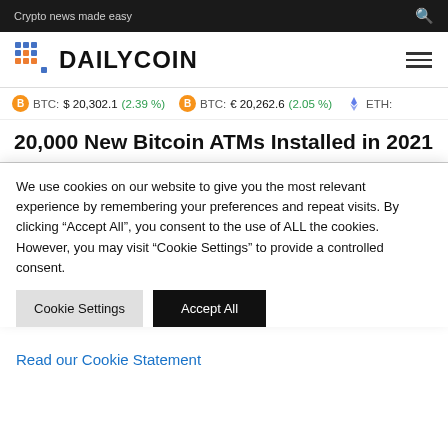Crypto news made easy
[Figure (logo): DailyCoin logo with colored grid icon and bold DAILYCOIN text]
BTC: $ 20,302.1 (2.39 %) BTC: € 20,262.6 (2.05 %) ETH:
20,000 New Bitcoin ATMs Installed in 2021
We use cookies on our website to give you the most relevant experience by remembering your preferences and repeat visits. By clicking "Accept All", you consent to the use of ALL the cookies. However, you may visit "Cookie Settings" to provide a controlled consent.
Cookie Settings   Accept All
Read our Cookie Statement